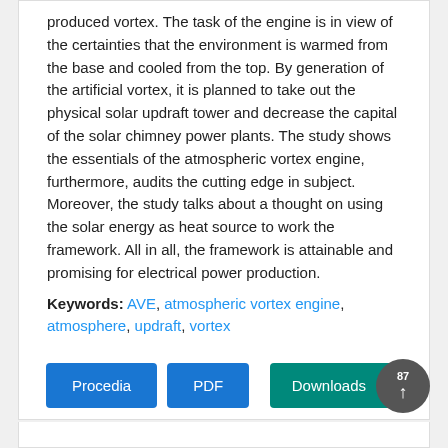produced vortex. The task of the engine is in view of the certainties that the environment is warmed from the base and cooled from the top. By generation of the artificial vortex, it is planned to take out the physical solar updraft tower and decrease the capital of the solar chimney power plants. The study shows the essentials of the atmospheric vortex engine, furthermore, audits the cutting edge in subject. Moreover, the study talks about a thought on using the solar energy as heat source to work the framework. All in all, the framework is attainable and promising for electrical power production.
Keywords: AVE, atmospheric vortex engine, atmosphere, updraft, vortex
[Figure (other): Two blue buttons labeled 'Procedia' and 'PDF', and a teal 'Downloads' button with a dark circular badge showing '87' and an upward arrow.]